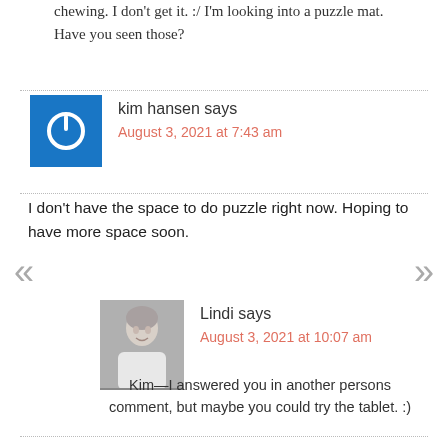chewing. I don't get it. :/ I'm looking into a puzzle mat. Have you seen those?
kim hansen says
August 3, 2021 at 7:43 am
I don't have the space to do puzzle right now. Hoping to have more space soon.
Lindi says
August 3, 2021 at 10:07 am
Kim—I answered you in another persons comment, but maybe you could try the tablet. :)